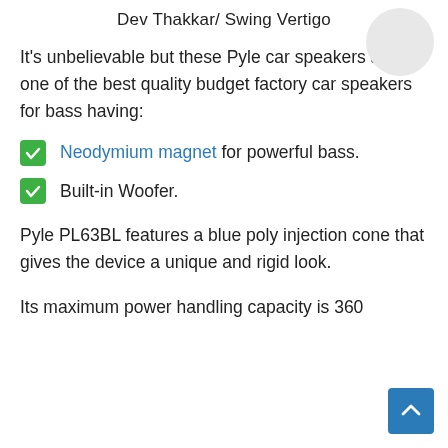Dev Thakkar/ Swing Vertigo
[Figure (illustration): Circular avatar/profile image placeholder in top right corner]
It's unbelievable but these Pyle car speakers are one of the best quality budget factory car speakers for bass having:
Neodymium magnet for powerful bass.
Built-in Woofer.
Pyle PL63BL features a blue poly injection cone that gives the device a unique and rigid look.
Its maximum power handling capacity is 360